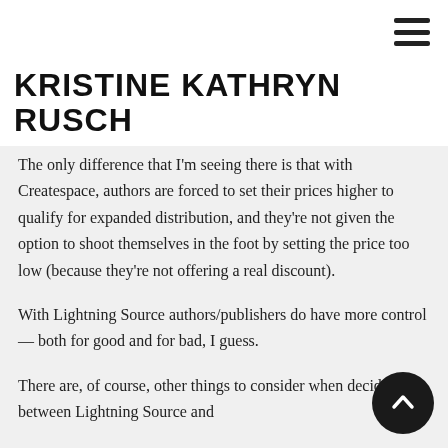KRISTINE KATHRYN RUSCH
The only difference that I'm seeing there is that with Createspace, authors are forced to set their prices higher to qualify for expanded distribution, and they're not given the option to shoot themselves in the foot by setting the price too low (because they're not offering a real discount).
With Lightning Source authors/publishers do have more control — both for good and for bad, I guess.
There are, of course, other things to consider when deciding between Lightning Source and